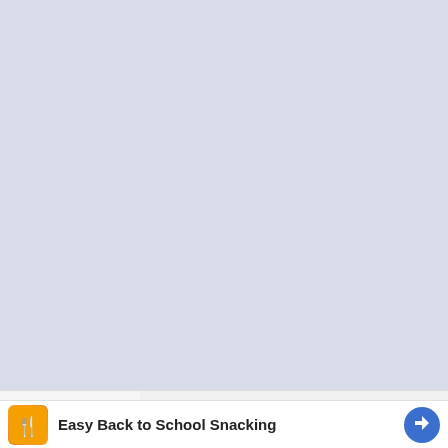[Figure (screenshot): Large light blue-grey empty area occupying the upper portion of the page, representing a blank or loading content area in a mobile UI.]
[Figure (screenshot): A collapse/minimize bar with a downward chevron arrow on the left side, partially overlapping the boundary between the grey area and the white notification bar below.]
Easy Back to School Snacking